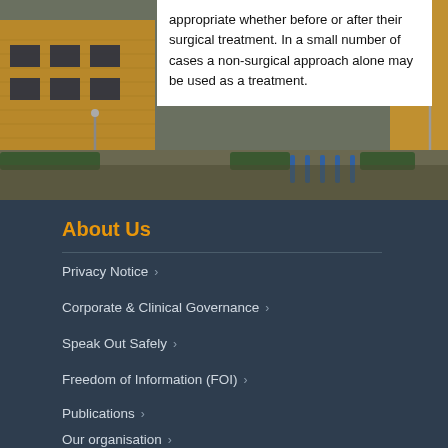appropriate whether before or after their surgical treatment. In a small number of cases a non-surgical approach alone may be used as a treatment.
[Figure (photo): Exterior photo of a hospital or medical facility building with brick facade, parking area with bollards, and landscaping.]
About Us
Privacy Notice
Corporate & Clinical Governance
Speak Out Safely
Freedom of Information (FOI)
Publications
Our organisation